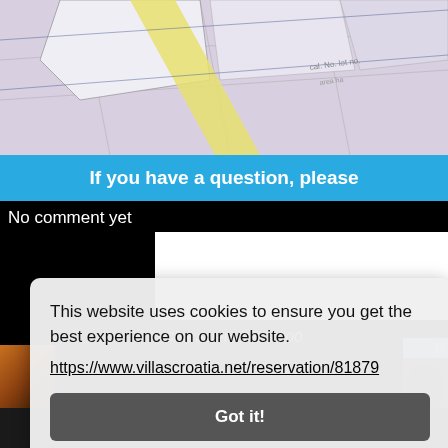[Figure (map): Aerial/cadastral map showing land parcels in pink/lavender tones with yellow road markings and grid lines]
If you have a question, please
No comment yet
Characters left: 1000
This website uses cookies to ensure you get the best experience on our website.
https://www.villascroatia.net/reservation/81879
Got it!
Similar Villas to Sea Front House wi